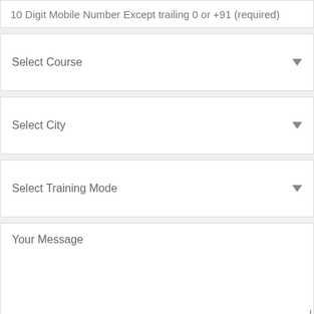10 Digit Mobile Number Except trailing 0 or +91 (required)
Select Course
Select City
Select Training Mode
Your Message
What is the correct answer for 28 + 16
Answer Here
SEND
Equity Research & Technical